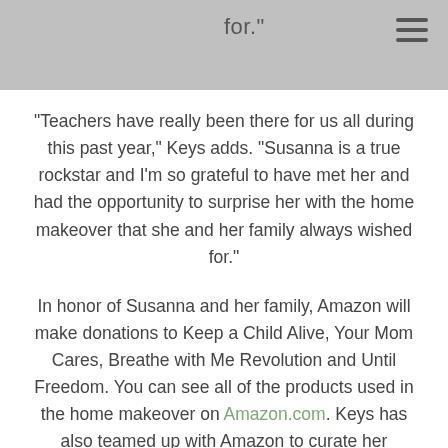for.
“Teachers have really been there for us all during this past year,” Keys adds. “Susanna is a true rockstar and I’m so grateful to have met her and had the opportunity to surprise her with the home makeover that she and her family always wished for.”
In honor of Susanna and her family, Amazon will make donations to Keep a Child Alive, Your Mom Cares, Breathe with Me Revolution and Until Freedom. You can see all of the products used in the home makeover on Amazon.com. Keys has also teamed up with Amazon to curate her favorite home items via her “Alicia’s Must-Haves” store. See all of her picks here.